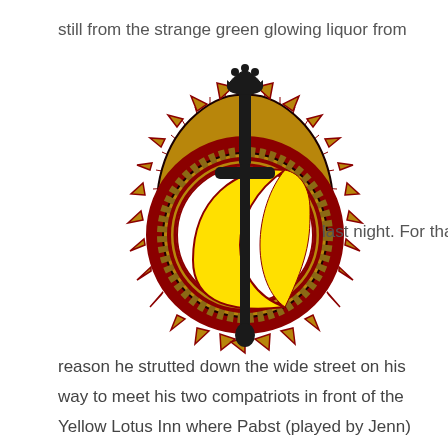still from the strange green glowing liquor from
[Figure (illustration): A stylized emblem/logo featuring a vertical sword/dagger in the center piercing through a circular wreath of thorns with gold and red coloring. Inside the circle is a yellow crescent moon. The overall design is black-outlined with gold, red, and yellow colors.]
last night. For that
reason he strutted down the wide street on his way to meet his two compatriots in front of the Yellow Lotus Inn where Pabst (played by Jenn) had room. He rounded the southwest corner of Mezcor's black-stone keep when he